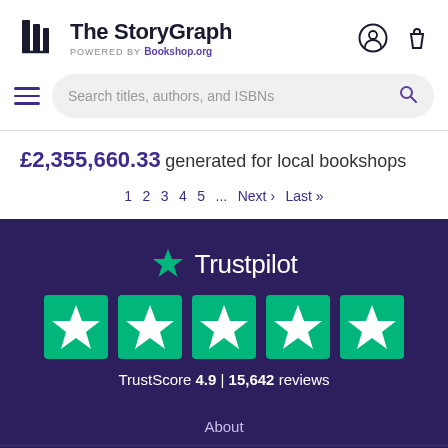The StoryGraph POWERED BY Bookshop.org
Search titles, authors, and ISBNs
£2,355,660.33 generated for local bookshops
1 2 3 4 5 ... Next > Last »
[Figure (logo): Trustpilot logo with green star and white text, followed by five green star rating boxes. TrustScore 4.9 | 15,642 reviews]
About
Support / Help